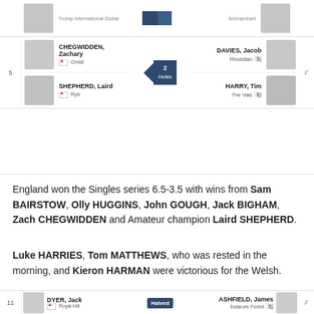[Figure (infographic): Golf match bracket row 5 showing CHEGWIDDEN Zachary (Orrell, England) vs DAVIES Jacob (Rhuddlan) and SHEPHERD Laird (Rye, England) vs HARRY Tim (The Vale), with score badge showing 2 Holes, arrow pointing left (England winning)]
England won the Singles series 6.5-3.5 with wins from Sam BAIRSTOW, Olly HUGGINS, John GOUGH, Jack BIGHAM, Zach CHEGWIDDEN and Amateur champion Laird SHEPHERD.
Luke HARRIES, Tom MATTHEWS, who was rested in the morning, and Kieron HARMAN were victorious for the Welsh.
[Figure (infographic): Golf match bracket rows 11-13 showing DYER Jack (Royal Hill) vs ASHFIELD James (Dolarore Forest) Halved; BAIRSTOW Sam (Hillcraig) vs CHAMBERLAIN Ben (Padeswood & Buckley) 4&3 England winning; BARROW Callan (Royal Lytham & St Annes) vs HARRIES Luke (Tenby)]